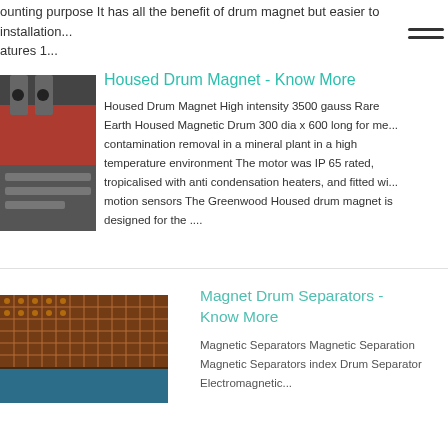ounting purpose It has all the benefit of drum magnet but easier to installation ... atures 1...
[Figure (other): Hamburger menu icon with two horizontal lines]
[Figure (photo): Close-up photo of industrial magnetic drum equipment with red and metallic components]
Housed Drum Magnet - Know More
Housed Drum Magnet High intensity 3500 gauss Rare Earth Housed Magnetic Drum 300 dia x 600 long for me... contamination removal in a mineral plant in a high temperature environment The motor was IP 65 rated, tropicalised with anti condensation heaters, and fitted wi... motion sensors The Greenwood Housed drum magnet is designed for the ....
[Figure (photo): Close-up photo of copper mesh or magnetic drum separator material with blue backing]
Magnet Drum Separators - Know More
Magnetic Separators Magnetic Separation Magnetic Separators index Drum Separator Electromagnetic...